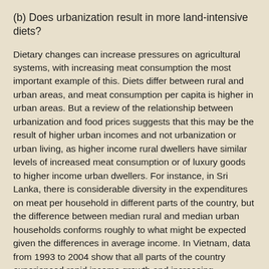(b) Does urbanization result in more land-intensive diets?
Dietary changes can increase pressures on agricultural systems, with increasing meat consumption the most important example of this. Diets differ between rural and urban areas, and meat consumption per capita is higher in urban areas. But a review of the relationship between urbanization and food prices suggests that this may be the result of higher urban incomes and not urbanization or urban living, as higher income rural dwellers have similar levels of increased meat consumption or of luxury goods to higher income urban dwellers. For instance, in Sri Lanka, there is considerable diversity in the expenditures on meat per household in different parts of the country, but the difference between median rural and median urban households conforms roughly to what might be expected given the differences in average income. In Vietnam, data from 1993 to 2004 show that all parts of the country experienced rapid income growth and increasing consumption of luxury foods, in a pattern that suggests that income, not urban living, is the driving force.